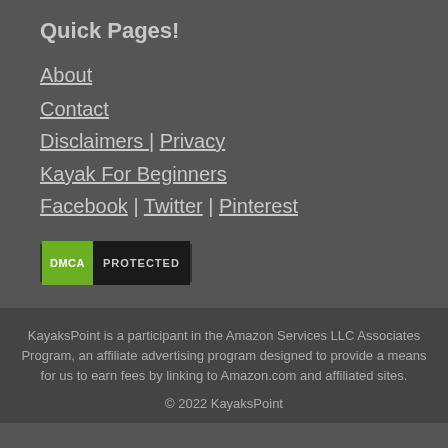Quick Pages!
About
Contact
Disclaimers  |  Privacy
Kayak For Beginners
Facebook | Twitter | Pinterest
[Figure (logo): DMCA Protected badge with green DMCA label and dark PROTECTED text]
KayaksPoint is a participant in the Amazon Services LLC Associates Program, an affiliate advertising program designed to provide a means for us to earn fees by linking to Amazon.com and affiliated sites.
© 2022 KayaksPoint